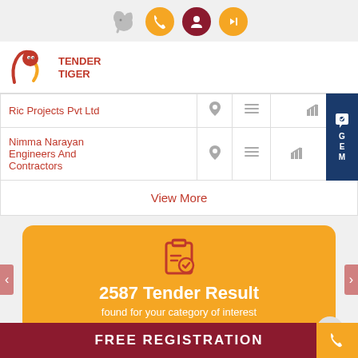Tender Tiger app header with navigation icons
[Figure (logo): Tender Tiger logo with red tiger icon and text TENDER TIGER]
| Company | Location | List | Chart |
| --- | --- | --- | --- |
| Ric Projects Pvt Ltd |  |  |  |
| Nimma Narayan Engineers And Contractors |  |  |  |
View More
2587 Tender Result found for your category of interest
FREE REGISTRATION